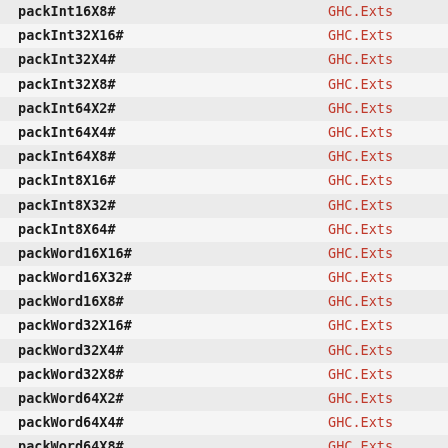| Function | Module |
| --- | --- |
| packInt16X8# | GHC.Exts |
| packInt32X16# | GHC.Exts |
| packInt32X4# | GHC.Exts |
| packInt32X8# | GHC.Exts |
| packInt64X2# | GHC.Exts |
| packInt64X4# | GHC.Exts |
| packInt64X8# | GHC.Exts |
| packInt8X16# | GHC.Exts |
| packInt8X32# | GHC.Exts |
| packInt8X64# | GHC.Exts |
| packWord16X16# | GHC.Exts |
| packWord16X32# | GHC.Exts |
| packWord16X8# | GHC.Exts |
| packWord32X16# | GHC.Exts |
| packWord32X4# | GHC.Exts |
| packWord32X8# | GHC.Exts |
| packWord64X2# | GHC.Exts |
| packWord64X4# | GHC.Exts |
| packWord64X8# | GHC.Exts |